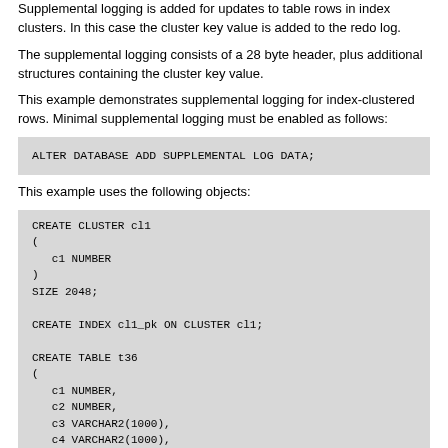Supplemental logging is added for updates to table rows in index clusters. In this case the cluster key value is added to the redo log.
The supplemental logging consists of a 28 byte header, plus additional structures containing the cluster key value.
This example demonstrates supplemental logging for index-clustered rows. Minimal supplemental logging must be enabled as follows:
This example uses the following objects: